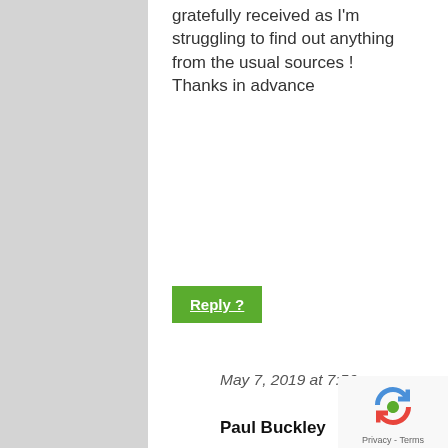gratefully received as I'm struggling to find out anything from the usual sources ! Thanks in advance
Reply ?
May 7, 2019 at 7:56 am
Paul Buckley
I've found a bit more information about Bridget's parents – They were John O Connor (born approx. 1826) and Kate/Catherine (born approx. 1838)